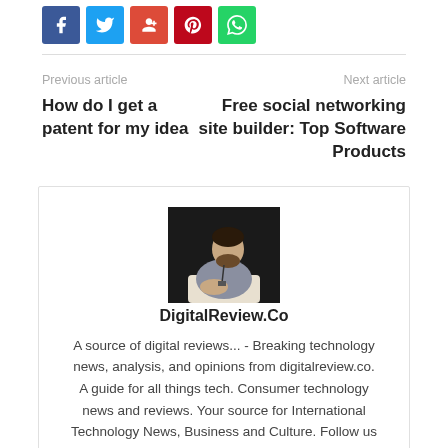[Figure (other): Social media share buttons: Facebook (blue), Twitter (light blue), Google+ (red), Pinterest (dark red), WhatsApp (green)]
Previous article
How do I get a patent for my idea
Next article
Free social networking site builder: Top Software Products
[Figure (photo): Photo of a man sitting, wearing a grey shirt with a lanyard, dark background]
DigitalReview.Co
A source of digital reviews... - Breaking technology news, analysis, and opinions from digitalreview.co. A guide for all things tech. Consumer technology news and reviews. Your source for International Technology News, Business and Culture. Follow us for